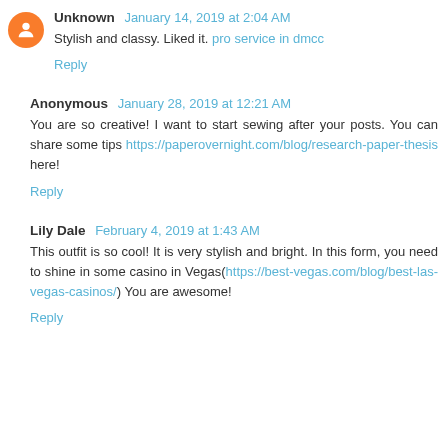Unknown  January 14, 2019 at 2:04 AM
Stylish and classy. Liked it. pro service in dmcc
Reply
Anonymous  January 28, 2019 at 12:21 AM
You are so creative! I want to start sewing after your posts. You can share some tips https://paperovernight.com/blog/research-paper-thesis here!
Reply
Lily Dale  February 4, 2019 at 1:43 AM
This outfit is so cool! It is very stylish and bright. In this form, you need to shine in some casino in Vegas(https://best-vegas.com/blog/best-las-vegas-casinos/) You are awesome!
Reply